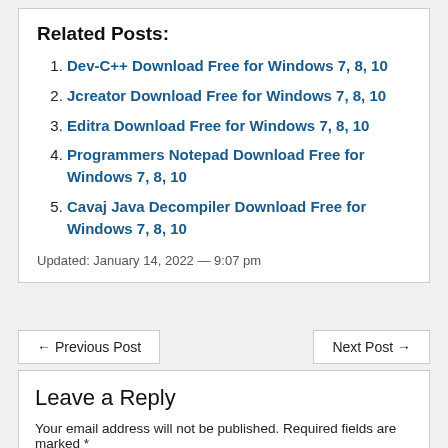Related Posts:
Dev-C++ Download Free for Windows 7, 8, 10
Jcreator Download Free for Windows 7, 8, 10
Editra Download Free for Windows 7, 8, 10
Programmers Notepad Download Free for Windows 7, 8, 10
Cavaj Java Decompiler Download Free for Windows 7, 8, 10
Updated: January 14, 2022 — 9:07 pm
← Previous Post
Next Post →
Leave a Reply
Your email address will not be published. Required fields are marked *
Comment *